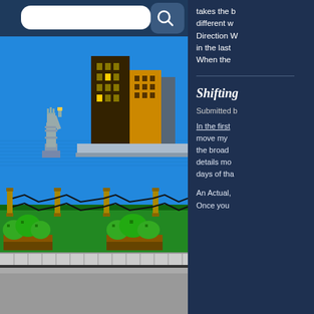[Figure (screenshot): Pixel art retro video game screenshot showing a side-scrolling scene with the Statue of Liberty in blue water, city buildings in background, a green grassy area with shrubs in wooden planters, fence posts with chain-link connecting them, and a tiled floor/platform at the bottom. A search bar UI element is visible at the top of the screenshot.]
takes the b different w Direction W in the last When the
Shifting
Submitted b
In the first move my the broad details mo days of tha
An Actual, Once you